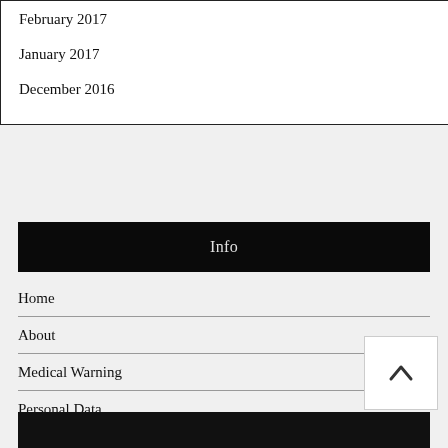February 2017
January 2017
December 2016
Info
Home
About
Medical Warning
Personal Data
Privacy Policy